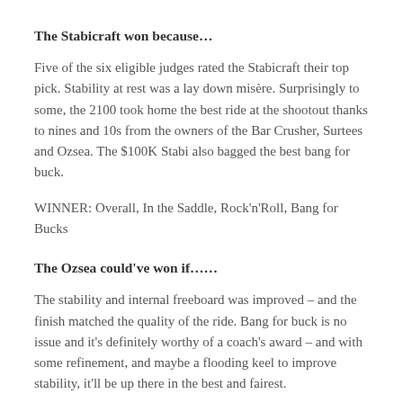The Stabicraft won because…
Five of the six eligible judges rated the Stabicraft their top pick. Stability at rest was a lay down misère. Surprisingly to some, the 2100 took home the best ride at the shootout thanks to nines and 10s from the owners of the Bar Crusher, Surtees and Ozsea. The $100K Stabi also bagged the best bang for buck.
WINNER: Overall, In the Saddle, Rock'n'Roll, Bang for Bucks
The Ozsea could've won if……
The stability and internal freeboard was improved – and the finish matched the quality of the ride. Bang for buck is no issue and it's definitely worthy of a coach's award – and with some refinement, and maybe a flooding keel to improve stability, it'll be up there in the best and fairest.